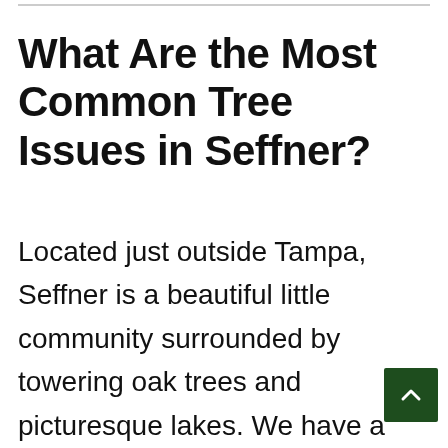What Are the Most Common Tree Issues in Seffner?
Located just outside Tampa, Seffner is a beautiful little community surrounded by towering oak trees and picturesque lakes. We have a population of just over 8,000 and our proximity to nearby cities makes it easy to stay connected while still enjoying the natural beauty of the area. In fact, the Eureka Springs Park is just a few